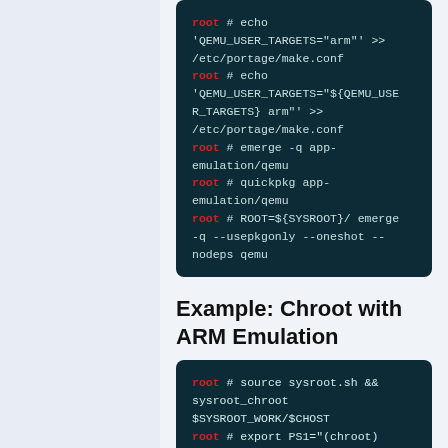[Figure (screenshot): Dark teal code block showing shell commands: root # echo 'QEMU_USER_TARGETS="arm"' >> /etc/portage/make.conf, root # echo 'QEMU_USER_TARGETS="${QEMU_USER_TARGETS} arm"' >> /etc/portage/make.conf, root # emerge -q app-emulation/qemu, root # quickpkg app-emulation/qemu, root # ROOT=${SYSROOT}/ emerge -q --usepkgonly --oneshot --nodeps qemu]
Example: Chroot with ARM Emulation
[Figure (screenshot): Dark teal code block showing: root # source sysroot.sh && sysroot_chroot $SYSROOT_WORK/$CHOST, root # export PS1="(chroot) $PS1", (chroot) # env-update...]